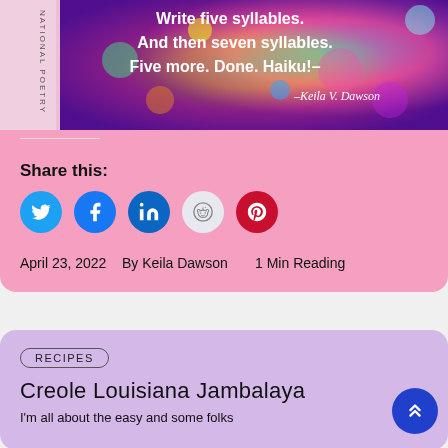[Figure (illustration): Book cover for National Poetry with colorful glitter background showing haiku text and author Keila V. Dawson]
Share this:
[Figure (infographic): Row of social share icon buttons: Twitter, Facebook, LinkedIn, Reddit, Pinterest]
April 23, 2022    By Keila Dawson        1 Min Reading
RECIPES
Creole Louisiana Jambalaya
I'm all about the easy and some folks